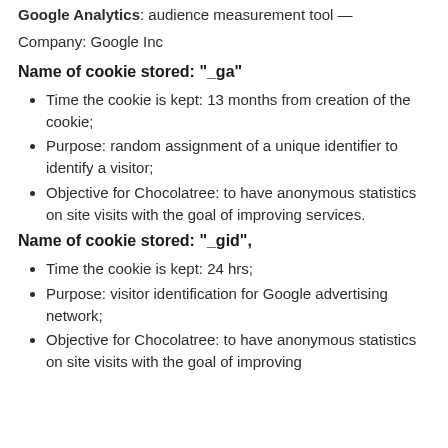Google Analytics: audience measurement tool — Company: Google Inc
Company: Google Inc
Name of cookie stored: "_ga"
Time the cookie is kept: 13 months from creation of the cookie;
Purpose: random assignment of a unique identifier to identify a visitor;
Objective for Chocolatree: to have anonymous statistics on site visits with the goal of improving services.
Name of cookie stored: "_gid",
Time the cookie is kept: 24 hrs;
Purpose: visitor identification for Google advertising network;
Objective for Chocolatree: to have anonymous statistics on site visits with the goal of improving